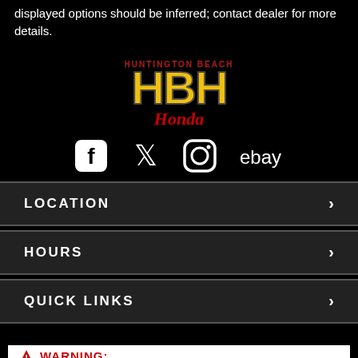displayed options should be inferred; contact dealer for more details.
[Figure (logo): Huntington Beach Honda (HBH) dealership logo with stylized HBH letters in yellow/gold and Honda in red text]
[Figure (infographic): Social media icons: Facebook, Twitter, Instagram, eBay]
LOCATION >
HOURS >
QUICK LINKS >
WARNING: